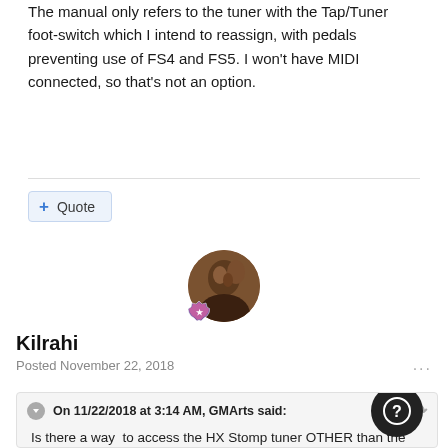The manual only refers to the tuner with the Tap/Tuner foot-switch which I intend to reassign, with pedals preventing use of FS4 and FS5.  I won't have MIDI connected, so that's not an option.
+ Quote
[Figure (photo): Round avatar photo of user Kilrahi with a hexagonal badge icon overlay at bottom left]
Kilrahi
Posted November 22, 2018
On 11/22/2018 at 3:14 AM, GMArts said:
Is there a way  to access the HX Stomp tuner OTHER than the Tap/Tuner foot-switch (or MIDI)?

The manual only refers to the tuner with the Tap/Tu… foot-switch which I intend to reassign, with pedals